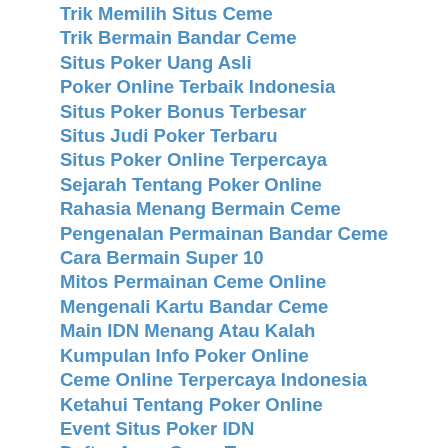Trik Memilih Situs Ceme
Trik Bermain Bandar Ceme
Situs Poker Uang Asli
Poker Online Terbaik Indonesia
Situs Poker Bonus Terbesar
Situs Judi Poker Terbaru
Situs Poker Online Terpercaya
Sejarah Tentang Poker Online
Rahasia Menang Bermain Ceme
Pengenalan Permainan Bandar Ceme
Cara Bermain Super 10
Mitos Permainan Ceme Online
Mengenali Kartu Bandar Ceme
Main IDN Menang Atau Kalah
Kumpulan Info Poker Online
Ceme Online Terpercaya Indonesia
Ketahui Tentang Poker Online
Event Situs Poker IDN
Daftar Agen Ceme Terpercaya
Cara Pro Menang Ceme
Cara Bermain Ceme Keliling
Mudah Menang Bermain Ceme
Cara Mendaftar IDN Poker